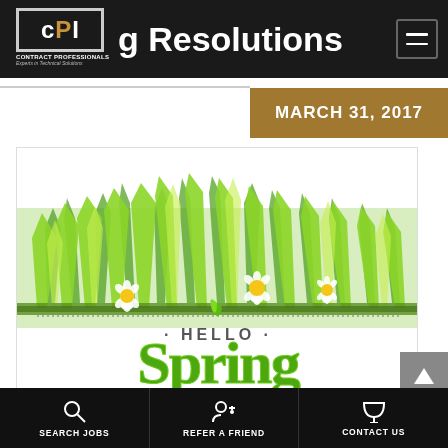CPI Contract Professionals – Experts in Technical Solutions
Spring Resolutions
MARCH 31, 2017
[Figure (illustration): Hello Spring illustration with lush green grass, white daisies, and bold green 'Hello Spring' text on white background]
SEARCH JOBS | REFER A FRIEND | CONTACT US